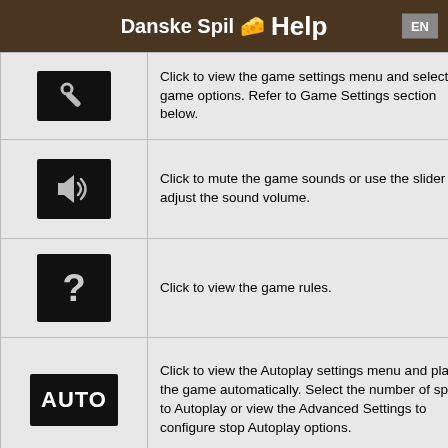Danske Spil 🧀 Help  EN
| Icon | Description |
| --- | --- |
| [settings icon] | Click to view the game settings menu and select game options. Refer to Game Settings section below. |
| [volume icon] | Click to mute the game sounds or use the slider to adjust the sound volume. |
| [help/rules icon] | Click to view the game rules. |
| [AUTO icon] | Click to view the Autoplay settings menu and play the game automatically. Select the number of spins to Autoplay or view the Advanced Settings to configure stop Autoplay options. |
| [info icon] | Click to view the Paytable. |